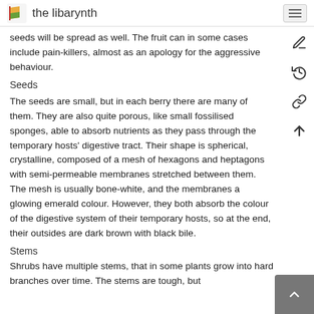the libarynth
seeds will be spread as well. The fruit can in some cases include pain-killers, almost as an apology for the aggressive behaviour.
Seeds
The seeds are small, but in each berry there are many of them. They are also quite porous, like small fossilised sponges, able to absorb nutrients as they pass through the temporary hosts' digestive tract. Their shape is spherical, crystalline, composed of a mesh of hexagons and heptagons with semi-permeable membranes stretched between them. The mesh is usually bone-white, and the membranes a glowing emerald colour. However, they both absorb the colour of the digestive system of their temporary hosts, so at the end, their outsides are dark brown with black bile.
Stems
Shrubs have multiple stems, that in some plants grow into hard branches over time. The stems are tough, but